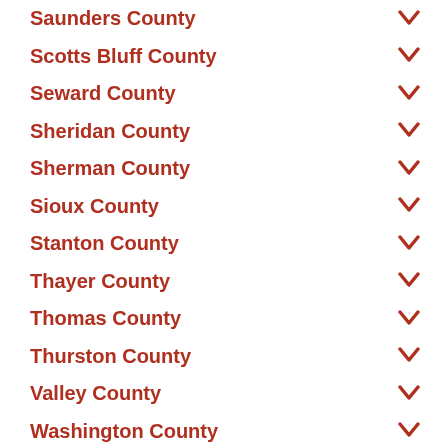Saunders County
Scotts Bluff County
Seward County
Sheridan County
Sherman County
Sioux County
Stanton County
Thayer County
Thomas County
Thurston County
Valley County
Washington County
Wayne County